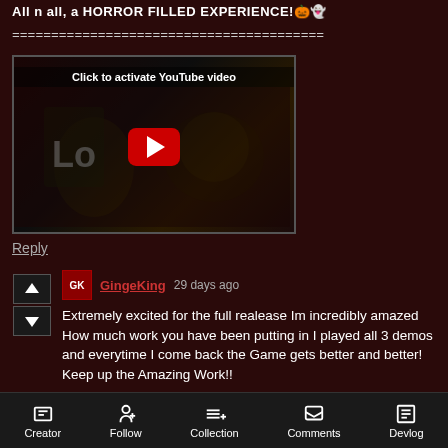All n all, a HORROR FILLED EXPERIENCE!🎃👻
========================================
[Figure (screenshot): YouTube video embed placeholder showing 'Click to activate YouTube video' with red play button over dark horror-themed background art]
Reply
GingeKing  29 days ago
Extremely excited for the full realease Im incredibly amazed How much work you have been putting in I played all 3 demos and everytime I come back the Game gets better and better! Keep up the Amazing Work!!
Creator  Follow  Collection  Comments  Devlog